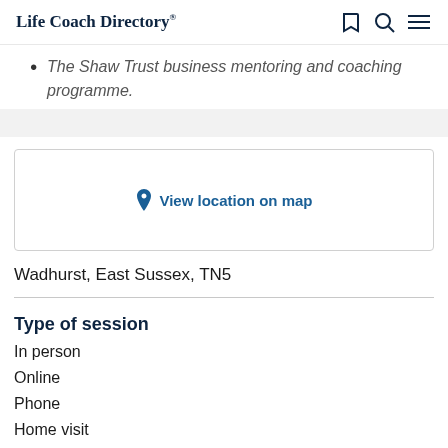Life Coach Directory
The Shaw Trust business mentoring and coaching programme.
[Figure (other): View location on map button with map pin icon]
Wadhurst, East Sussex, TN5
Type of session
In person
Online
Phone
Home visit (partial, cut off)